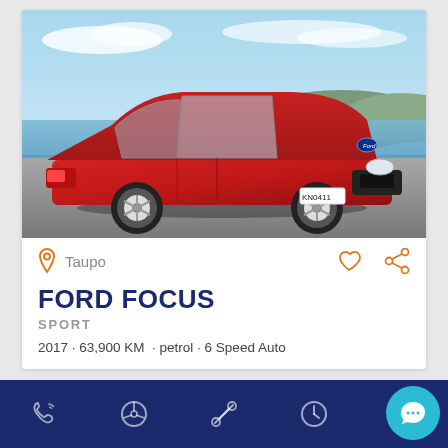[Figure (photo): Red Ford Focus hatchback car parked by a lake with blue sky and hills in background, taken at Taupo]
Taupo
FORD FOCUS
SPORT
2017 · 63,900 KM · petrol · 6 Speed Auto